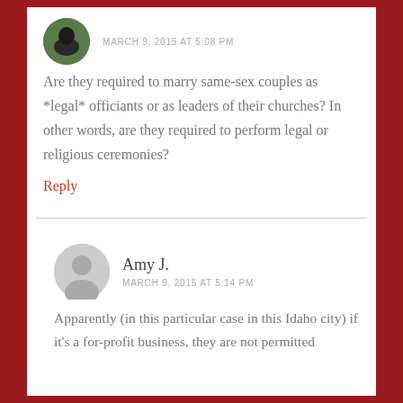MARCH 9, 2015 AT 5:08 PM
Are they required to marry same-sex couples as *legal* officiants or as leaders of their churches? In other words, are they required to perform legal or religious ceremonies?
Reply
Amy J.
MARCH 9, 2015 AT 5:14 PM
Apparently (in this particular case in this Idaho city) if it's a for-profit business, they are not permitted